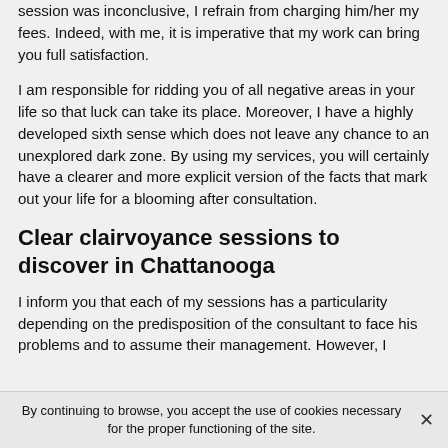session was inconclusive, I refrain from charging him/her my fees. Indeed, with me, it is imperative that my work can bring you full satisfaction.
I am responsible for ridding you of all negative areas in your life so that luck can take its place. Moreover, I have a highly developed sixth sense which does not leave any chance to an unexplored dark zone. By using my services, you will certainly have a clearer and more explicit version of the facts that mark out your life for a blooming after consultation.
Clear clairvoyance sessions to discover in Chattanooga
I inform you that each of my sessions has a particularity depending on the predisposition of the consultant to face his problems and to assume their management. However, I
By continuing to browse, you accept the use of cookies necessary for the proper functioning of the site.